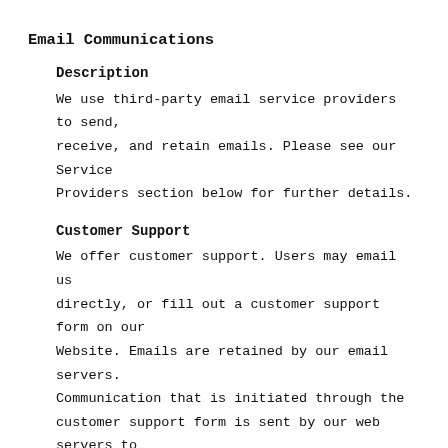Email Communications
Description
We use third-party email service providers to send, receive, and retain emails. Please see our Service Providers section below for further details.
Customer Support
We offer customer support. Users may email us directly, or fill out a customer support form on our Website. Emails are retained by our email servers. Communication that is initiated through the customer support form is sent by our web servers to our email servers as an email. In addition to the information provided directly by the user in the form, we also collect information about the operating